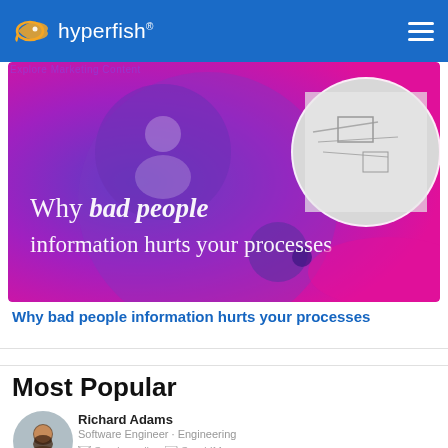hyperfish
[Figure (illustration): Banner image with purple-to-magenta gradient background, abstract circles and person silhouette icons. In the right circle there is a black-and-white photo showing hands writing on paper. Text overlay reads: Why bad people information hurts your processes]
Why bad people information hurts your processes
Most Popular
[Figure (photo): Circular avatar photo of Richard Adams, a bearded man]
Richard Adams
Software Engineer · Engineering
Send email  Send IM
Contact  About  Organization  Files  Emails  LinkedIn